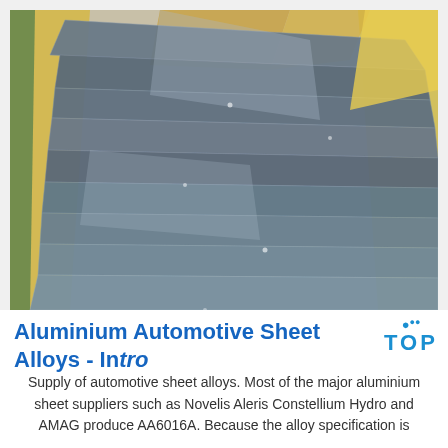[Figure (photo): Stacked aluminium automotive sheet alloy panels wrapped in yellow protective packaging/foam, stored in what appears to be a warehouse or shipping environment. The metallic sheets are dark silver/blue-grey in colour, arranged diagonally in a stack.]
Aluminium Automotive Sheet Alloys - Intro
Supply of automotive sheet alloys. Most of the major aluminium sheet suppliers such as Novelis Aleris Constellium Hydro and AMAG produce AA6016A. Because the alloy specification is